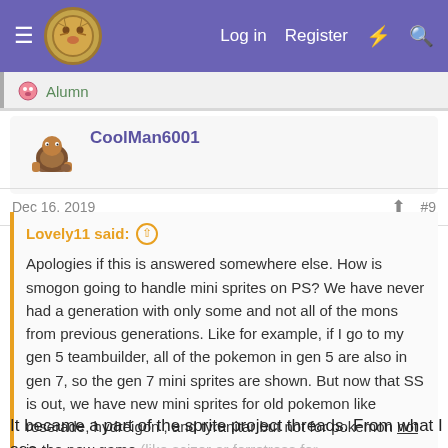Log in  Register
Alumn
CoolMan6001
Dec 16, 2019  #9
Lovely11 said: ↑
Apologies if this is answered somewhere else. How is smogon going to handle mini sprites on PS? We have never had a generation with only some and not all of the mons from previous generations. Like for example, if I go to my gen 5 teambuilder, all of the pokemon in gen 5 are also in gen 7, so the gen 7 mini sprites are shown. But now that SS is out, we have new mini sprites for old pokemon like roserade, hydreigon , and tyranitar but not for pokemon not in the new game (like scizor or forretress for... Click to expand...
It became a part of the sprite project threads. From what I see